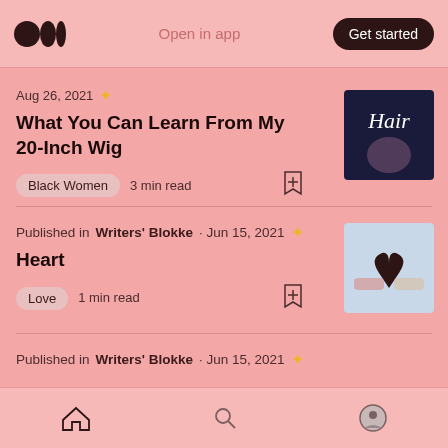Open in app  Get started
Aug 26, 2021 ✦
What You Can Learn From My 20-Inch Wig
Black Women  3 min read
[Figure (photo): Article thumbnail showing neon Hair sign]
Published in Writers' Blokke · Jun 15, 2021 ✦
Heart
Love  1 min read
[Figure (photo): Article thumbnail showing two hands holding a heart shape]
Published in Writers' Blokke · Jun 15, 2021 ✦
Home  Search  Profile